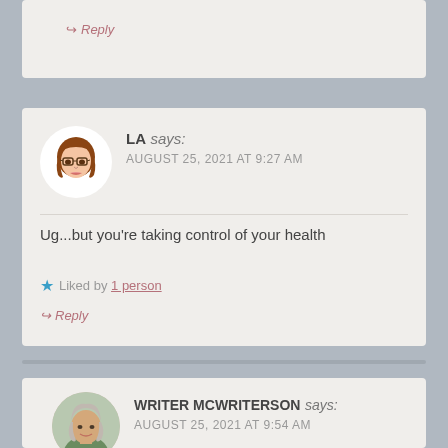↪ Reply
LA says:
AUGUST 25, 2021 AT 9:27 AM
Ug...but you're taking control of your health
★ Liked by 1 person
↪ Reply
WRITER MCWRITERSON says:
AUGUST 25, 2021 AT 9:54 AM
Yea 🙂